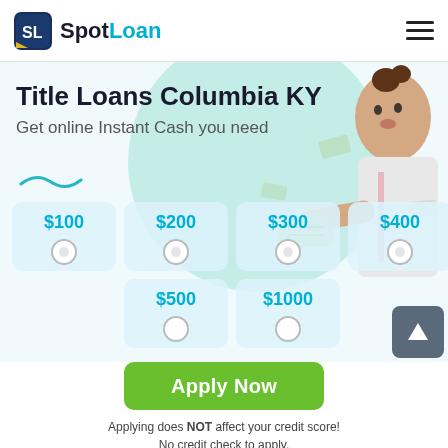SpotLoan
Title Loans Columbia KY
Get online Instant Cash you need
[Figure (infographic): Loan amount selector with options: $100, $200, $300, $400, $500, $1000, each in a light blue rounded card with a radio button below. A dark grey square button with an upward arrow is in the bottom right.]
Apply Now
Applying does NOT affect your credit score!
No credit check to apply.